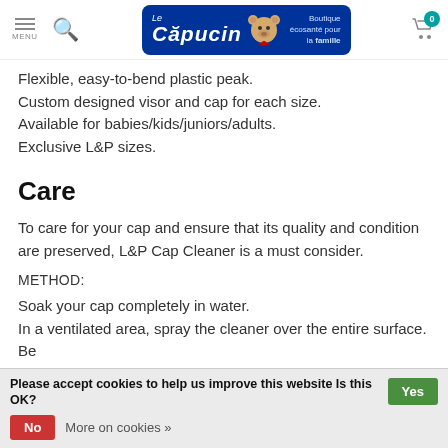MENU | Le Capucin – Boutique écosanté pour la famille
Flexible, easy-to-bend plastic peak.
Custom designed visor and cap for each size.
Available for babies/kids/juniors/adults.
Exclusive L&P sizes.
Care
To care for your cap and ensure that its quality and condition are preserved, L&P Cap Cleaner is a must consider.
METHOD:
Soak your cap completely in water.
In a ventilated area, spray the cleaner over the entire surface. Be
Please accept cookies to help us improve this website Is this OK?  Yes
No  More on cookies »